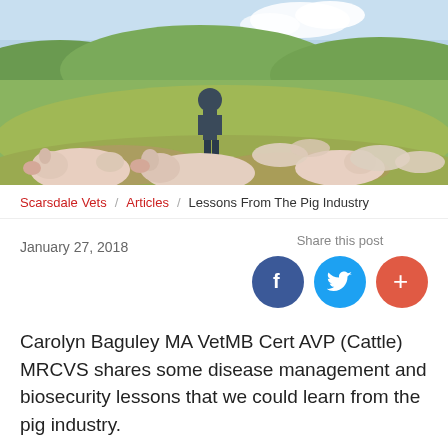[Figure (photo): A person standing in a field surrounded by pigs grazing on green pasture with rolling hills in the background]
Scarsdale Vets / Articles / Lessons From The Pig Industry
January 27, 2018
Share this post
Carolyn Baguley MA VetMB Cert AVP (Cattle) MRCVS shares some disease management and biosecurity lessons that we could learn from the pig industry.